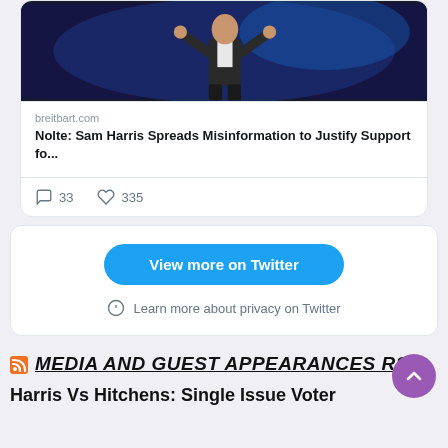[Figure (screenshot): Photo of a man in a dark suit gesturing with hands against a blue background, shown inside a Twitter link preview card for breitbart.com article titled 'Nolte: Sam Harris Spreads Misinformation to Justify Support fo...']
breitbart.com
Nolte: Sam Harris Spreads Misinformation to Justify Support fo...
33
335
View more on Twitter
Learn more about privacy on Twitter
MEDIA AND GUEST APPEARANCES RSS
Harris Vs Hitchens: Single Issue Voter